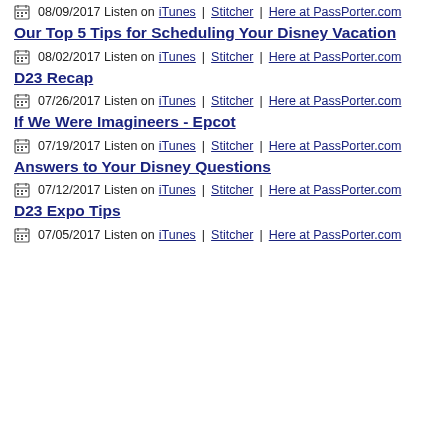08/09/2017 Listen on iTunes | Stitcher | Here at PassPorter.com
Our Top 5 Tips for Scheduling Your Disney Vacation
08/02/2017 Listen on iTunes | Stitcher | Here at PassPorter.com
D23 Recap
07/26/2017 Listen on iTunes | Stitcher | Here at PassPorter.com
If We Were Imagineers - Epcot
07/19/2017 Listen on iTunes | Stitcher | Here at PassPorter.com
Answers to Your Disney Questions
07/12/2017 Listen on iTunes | Stitcher | Here at PassPorter.com
D23 Expo Tips
07/05/2017 Listen on iTunes | Stitcher | Here at PassPorter.com